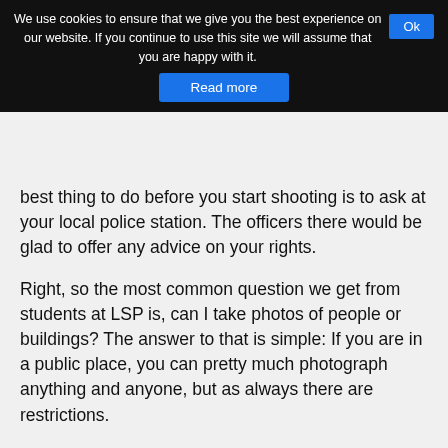We use cookies to ensure that we give you the best experience on our website. If you continue to use this site we will assume that you are happy with it. Ok
Read more
best thing to do before you start shooting is to ask at your local police station. The officers there would be glad to offer any advice on your rights.
Right, so the most common question we get from students at LSP is, can I take photos of people or buildings? The answer to that is simple: If you are in a public place, you can pretty much photograph anything and anyone, but as always there are restrictions.
Starting with private property, no one can stop you taking photos of their property if you are standing in a public place such as a public highway, (except if that property is part of restricted area due to issues of national security).
You may also photograph on the property if you have been specifically granted permission to by the owner (in which